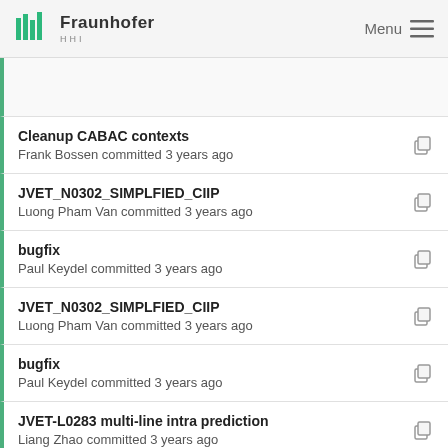Fraunhofer HHI — Menu
Cleanup CABAC contexts
Frank Bossen committed 3 years ago
JVET_N0302_SIMPLFIED_CIIP
Luong Pham Van committed 3 years ago
bugfix
Paul Keydel committed 3 years ago
JVET_N0302_SIMPLFIED_CIIP
Luong Pham Van committed 3 years ago
bugfix
Paul Keydel committed 3 years ago
JVET-L0283 multi-line intra prediction
Liang Zhao committed 3 years ago
Cleanup of JVET-N0362 integration: rename variabl